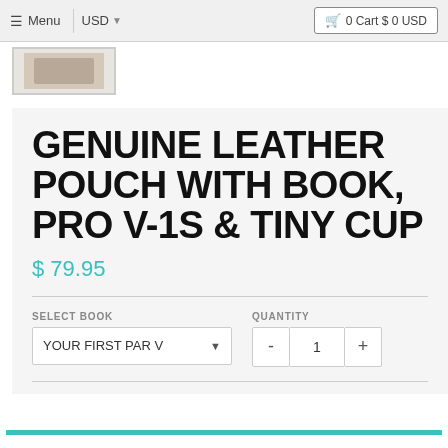≡ Menu | USD ▼ | 🛒 0 Cart $ 0 USD
[Figure (photo): Small thumbnail image of product in a bordered box]
GENUINE LEATHER POUCH WITH BOOK, PRO V-1S & TINY CUP
$ 79.95
SELECT BOOK — YOUR FIRST PAR V ▼    QUANTITY — - 1 +